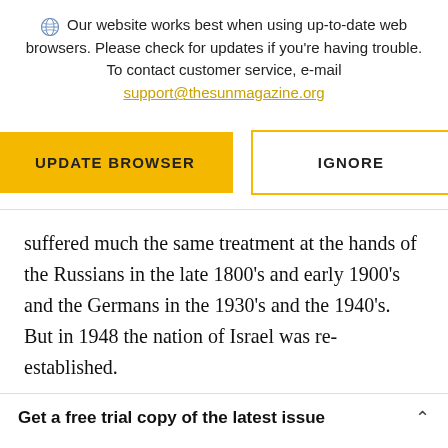Our website works best when using up-to-date web browsers. Please check for updates if you're having trouble. To contact customer service, e-mail support@thesunmagazine.org
[Figure (other): Two buttons: a gold filled 'UPDATE BROWSER' button and a gold-outlined 'IGNORE' button]
suffered much the same treatment at the hands of the Russians in the late 1800’s and early 1900’s and the Germans in the 1930’s and the 1940’s. But in 1948 the nation of Israel was re-established.
Get a free trial copy of the latest issue